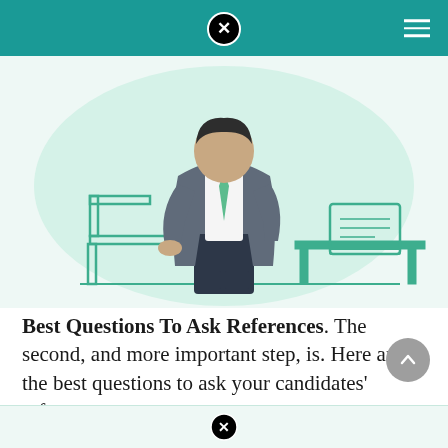[Figure (illustration): Illustration of a professional person in a grey blazer with green tie standing confidently, with an office desk and document/tablet in the background, on a light green background]
Best Questions To Ask References. The second, and more important step, is. Here are the best questions to ask your candidates' references.